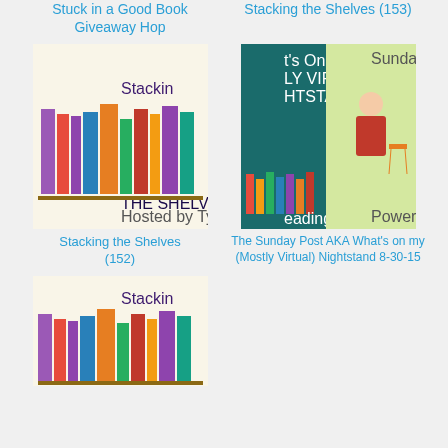Stuck in a Good Book Giveaway Hop
Stacking the Shelves (153)
[Figure (illustration): Stacking the Shelves book blog image with colorful books and purple text]
Stacking the Shelves (152)
[Figure (illustration): The Sunday Post / What's on my (Mostly Virtual) Nightstand book blog image with woman and books]
The Sunday Post AKA What's on my (Mostly Virtual) Nightstand 8-30-15
[Figure (illustration): Stacking the Shelves book blog image (partial, bottom of page)]